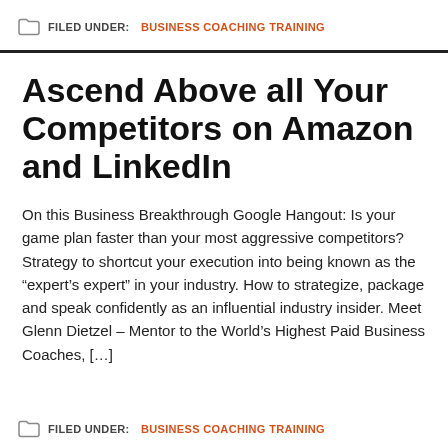FILED UNDER: BUSINESS COACHING TRAINING
Ascend Above all Your Competitors on Amazon and LinkedIn
On this Business Breakthrough Google Hangout: Is your game plan faster than your most aggressive competitors? Strategy to shortcut your execution into being known as the “expert’s expert” in your industry. How to strategize, package and speak confidently as an influential industry insider. Meet Glenn Dietzel – Mentor to the World’s Highest Paid Business Coaches, […]
FILED UNDER: BUSINESS COACHING TRAINING